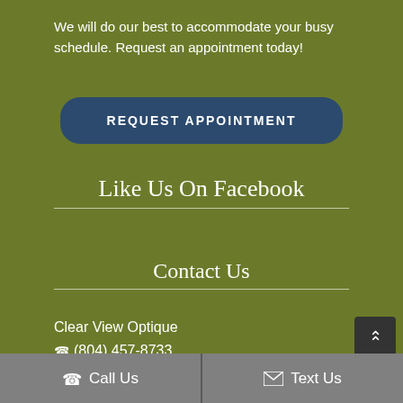We will do our best to accommodate your busy schedule. Request an appointment today!
REQUEST APPOINTMENT
Like Us On Facebook
Contact Us
Clear View Optique
(804) 457-8733
8709 Forest Hill Ave North Chesterfield, VA 23235
Call Us
Text Us